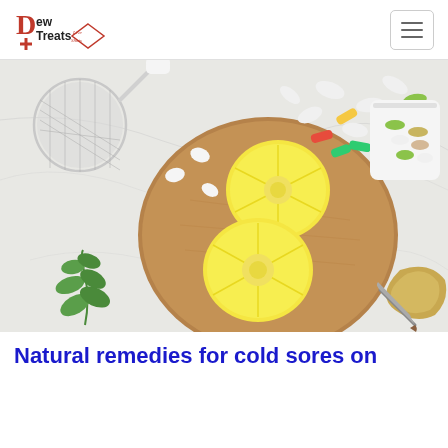Dew Treats - Live Shots
[Figure (photo): Top-down flat lay photo showing two lemon halves on a round cork board, surrounded by various pills and capsules spilling from a white container, a metal tea strainer, fresh mint leaves, and a piece of ginger with a small knife, all on a white marble surface.]
Natural remedies for cold sores on